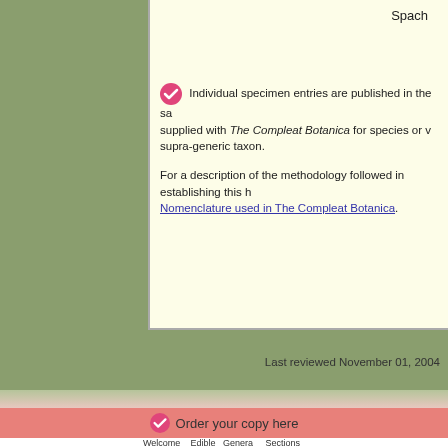Spach
Individual specimen entries are published in the same format as those supplied with The Compleat Botanica for species or varieties within a supra-generic taxon.
For a description of the methodology followed in establishing this hierarchy see Nomenclature used in The Compleat Botanica.
Last reviewed November 01, 2004
Order your copy here